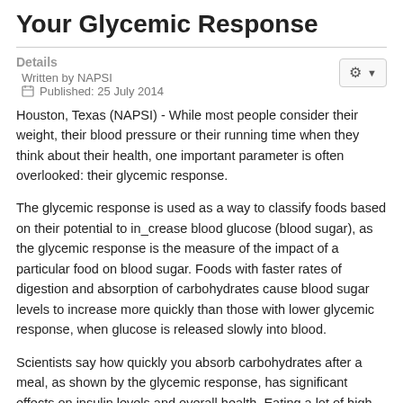Your Glycemic Response
Details
Written by NAPSI
Published: 25 July 2014
Houston, Texas (NAPSI) - While most people consider their weight, their blood pressure or their running time when they think about their health, one important parameter is often overlooked: their glycemic response.
The glycemic response is used as a way to classify foods based on their potential to in_crease blood glucose (blood sugar), as the glycemic response is the measure of the impact of a particular food on blood sugar. Foods with faster rates of digestion and absorption of carbohydrates cause blood sugar levels to increase more quickly than those with lower glycemic response, when glucose is released slowly into blood.
Scientists say how quickly you absorb carbohydrates after a meal, as shown by the glycemic response, has significant effects on insulin levels and overall health. Eating a lot of high-glycemic foods may increase your risk for obesity, type-2 diabetes and heart disease.
The World Health Organization and Food and Agriculture